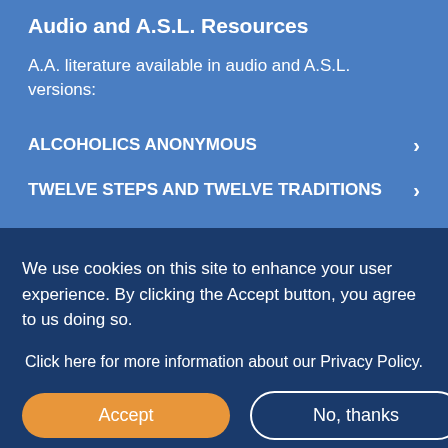Audio and A.S.L. Resources
A.A. literature available in audio and A.S.L. versions:
ALCOHOLICS ANONYMOUS
TWELVE STEPS AND TWELVE TRADITIONS
We use cookies on this site to enhance your user experience. By clicking the Accept button, you agree to us doing so.
Click here for more information about our Privacy Policy.
Accept
No, thanks